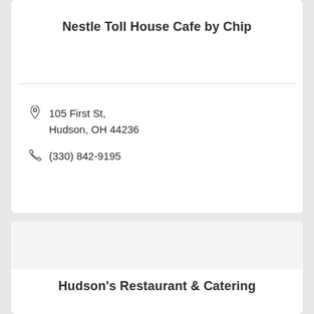Nestle Toll House Cafe by Chip
105 First St, Hudson, OH 44236
(330) 842-9195
Hudson's Restaurant & Catering